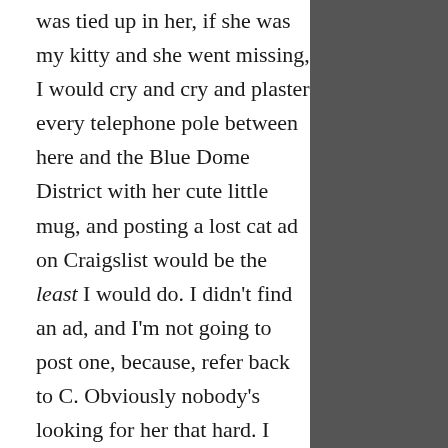was tied up in her, if she was my kitty and she went missing, I would cry and cry and plaster every telephone pole between here and the Blue Dome District with her cute little mug, and posting a lost cat ad on Craigslist would be the least I would do. I didn't find an ad, and I'm not going to post one, because, refer back to C. Obviously nobody's looking for her that hard. I know accidents happen and pets sometimes run away through no fault of the owner, but between that and the declawing, I just think we'll do better by her. Plus, after the vet